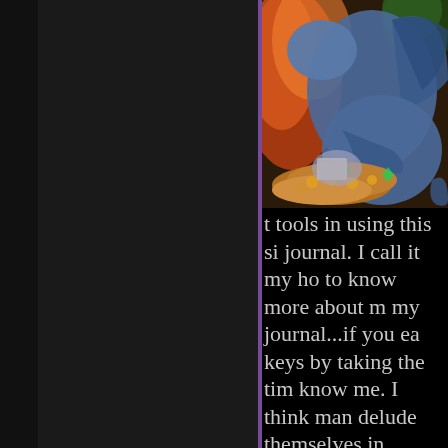[Figure (illustration): Fantasy illustration of a blue dragon hoarding treasure — gold coins, gems, books, and artifacts — with a robed figure beneath it. Colorful background with warm orange and red tones.]
t tools in using this si journal. I call it my ho to know more about m my journal...if you ea keys by taking the tim know me. I think man delude themselves in interactions here so I obstacles up to separa from the fake ones. I